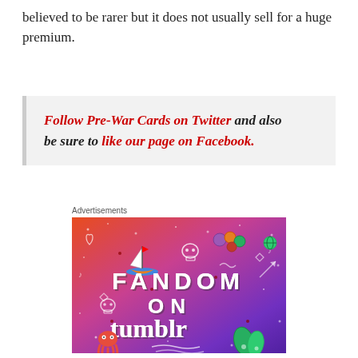believed to be rarer but it does not usually sell for a huge premium.
Follow Pre-War Cards on Twitter and also be sure to like our page on Facebook.
Advertisements
[Figure (illustration): Fandom on Tumblr advertisement banner with colorful gradient background from orange to purple, featuring cartoon stickers, doodles, and the text FANDOM ON tumblr]